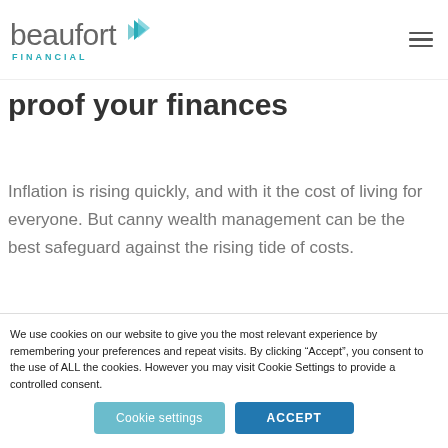[Figure (logo): Beaufort Financial logo with teal chevron arrows and 'beaufort' in grey lowercase with 'FINANCIAL' in teal capitals below]
proof your finances
Inflation is rising quickly, and with it the cost of living for everyone. But canny wealth management can be the best safeguard against the rising tide of costs.
We use cookies on our website to give you the most relevant experience by remembering your preferences and repeat visits. By clicking “Accept”, you consent to the use of ALL the cookies. However you may visit Cookie Settings to provide a controlled consent.